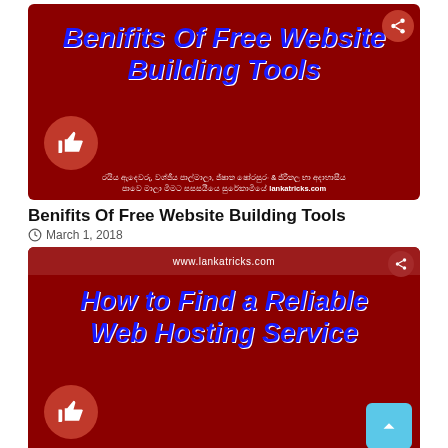[Figure (illustration): Red banner image for 'Benifits Of Free Website Building Tools' from lankatricks.com with thumbs up icon and Sinhala text]
Benifits Of Free Website Building Tools
March 1, 2018
[Figure (illustration): Red banner image for 'How to Find a Reliable Web Hosting Service' from www.lankatricks.com with thumbs up icon and Sinhala text, with scroll-to-top button]